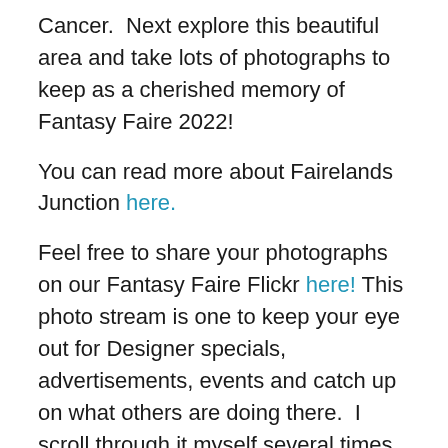Cancer.  Next explore this beautiful area and take lots of photographs to keep as a cherished memory of Fantasy Faire 2022!
You can read more about Fairelands Junction here.
Feel free to share your photographs on our Fantasy Faire Flickr here! This photo stream is one to keep your eye out for Designer specials, advertisements, events and catch up on what others are doing there.  I scroll through it myself several times a day!
[Figure (illustration): Decorative divider with curly symbols, a tulip emoji, and division signs: ÷ ≺ 🌷 ≻ ÷]
OSTARA'S ALTER APRIL 2022: